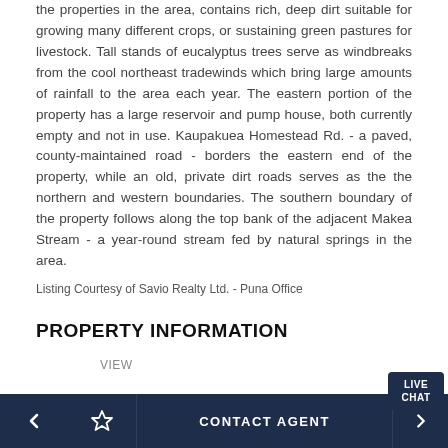the properties in the area, contains rich, deep dirt suitable for growing many different crops, or sustaining green pastures for livestock. Tall stands of eucalyptus trees serve as windbreaks from the cool northeast tradewinds which bring large amounts of rainfall to the area each year. The eastern portion of the property has a large reservoir and pump house, both currently empty and not in use. Kaupakuea Homestead Rd. - a paved, county-maintained road - borders the eastern end of the property, while an old, private dirt roads serves as the the northern and western boundaries. The southern boundary of the property follows along the top bank of the adjacent Makea Stream - a year-round stream fed by natural springs in the area.
Listing Courtesy of Savio Realty Ltd. - Puna Office
PROPERTY INFORMATION
VIEW
Mountain